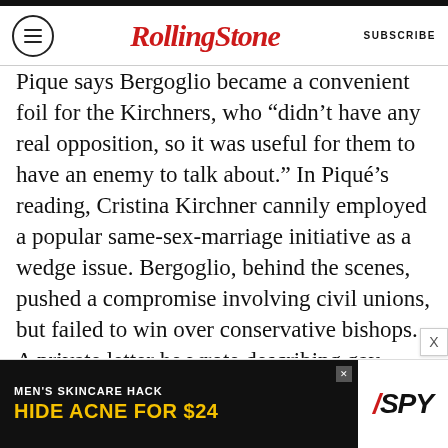Rolling Stone — SUBSCRIBE
Pique says Bergoglio became a convenient foil for the Kirchners, who “didn’t have any real opposition, so it was useful for them to have an enemy to talk about.” In Piqué’s reading, Cristina Kirchner cannily employed a popular same-sex-marriage initiative as a wedge issue. Bergoglio, behind the scenes, pushed a compromise involving civil unions, but failed to win over conservative bishops. A private letter he wrote describing gay marriage as “the total rejection of the law of God” leaked, bruising his image, though Vallely argues he wrote the letter as a strategic means of currying favor with the conservatives. Marcelo Márquez, a gay-rights
[Figure (infographic): Advertisement banner: MEN'S SKINCARE HACK / HIDE ACNE FOR $24 with SPY logo]